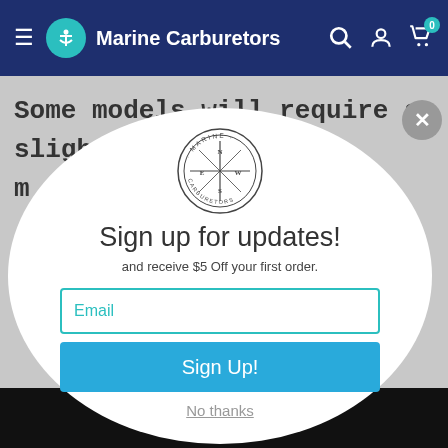Marine Carburetors
Some models will require a slight m[odification to the]e
[Figure (screenshot): Marine Carburetors website popup modal with compass logo, sign up form for updates offering $5 off first order, email input field, Sign Up! button, and No thanks link, overlaid on a gray background with a navy navigation header showing hamburger menu, teal logo, brand name, search, account, and cart icons.]
Sign up for updates!
and receive $5 Off your first order.
Email
Sign Up!
No thanks
Sign up!